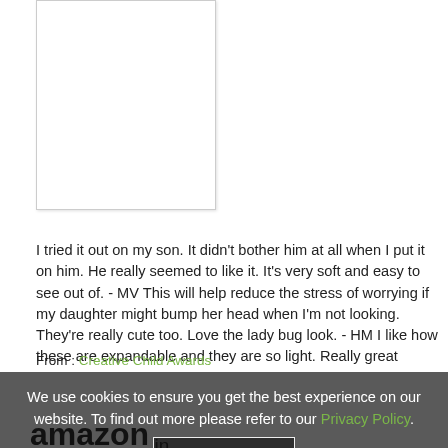[Figure (photo): White rectangular image placeholder with light border and shadow]
I tried it out on my son. It didn't bother him at all when I put it on him. He really seemed to like it. It's very soft and easy to see out of. - MV This will help reduce the stress of worrying if my daughter might bump her head when I'm not looking. They're really cute too. Love the lady bug look. - HM I like how these are expandable and they are so light. Really great product. - AP Beautiful Design! Love the colors too. - JR Great idea. My son is just learning to walk and bumps his head quite a bit. This headgear really helps. - DG Love the design of these products. They are so colorful and soft so your little one will have fun wearing it. - LM
From : Creative Child Awards
We use cookies to ensure you get the best experience on our website. To find out more please refer to our Privacy Policy.
[Figure (logo): Amazon.in logo at bottom left]